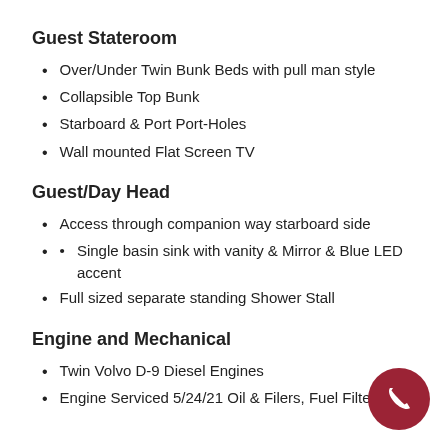Guest Stateroom
Over/Under Twin Bunk Beds with pull man style
Collapsible Top Bunk
Starboard & Port Port-Holes
Wall mounted Flat Screen TV
Guest/Day Head
Access through companion way starboard side
Single basin sink with vanity & Mirror & Blue LED accent
Full sized separate standing Shower Stall
Engine and Mechanical
Twin Volvo D-9 Diesel Engines
Engine Serviced 5/24/21 Oil & Filers, Fuel Filters,
[Figure (illustration): Red circular phone/call button icon in the bottom right corner]